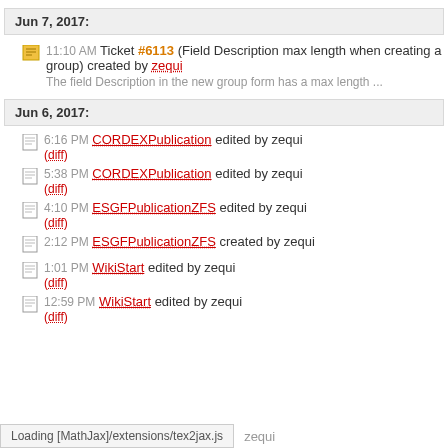Jun 7, 2017:
11:10 AM Ticket #6113 (Field Description max length when creating a group) created by zequi
The field Description in the new group form has a max length ...
Jun 6, 2017:
6:16 PM CORDEXPublication edited by zequi
(diff)
5:38 PM CORDEXPublication edited by zequi
(diff)
4:10 PM ESGFPublicationZFS edited by zequi
(diff)
2:12 PM ESGFPublicationZFS created by zequi
1:01 PM WikiStart edited by zequi
(diff)
12:59 PM WikiStart edited by zequi
(diff)
Loading [MathJax]/extensions/tex2jax.js   zequi